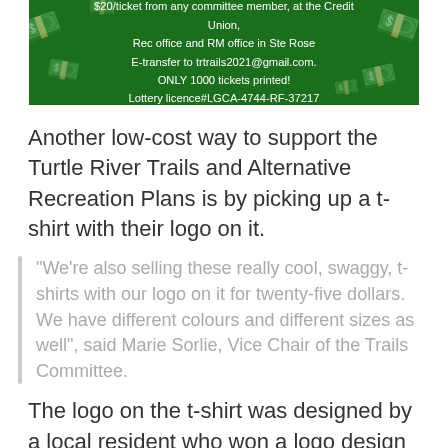[Figure (infographic): Green banner with money/dollar bill graphics floating around text advertising $20/ticket lottery for Turtle River Trails, available from committee members, Credit Union, Rec office and RM office in Ste Rose via E-transfer to trtrails2021@gmail.com. ONLY 1000 tickets printed. Lottery licence#LGCA-4744-RF-37217]
Another low-cost way to support the Turtle River Trails and Alternative Recreation Plans is by picking up a t-shirt with their logo on it.
"We're also selling these really cool, swaggy, t-shirts with our logo on it for twenty-five dollars. We have different colours and different sizes as well", said Marie Sorlie, Vice Chair of the Trails Committee.
The logo on the t-shirt was designed by a local resident who won a logo design contest. The Turtle River Trails and Alternative Recreation Plans